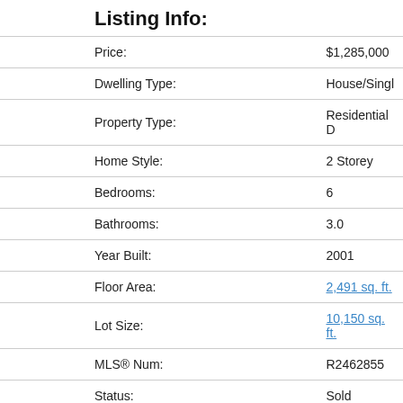Listing Info:
|  |  |
| --- | --- |
| Price: | $1,285,000 |
| Dwelling Type: | House/Singl... |
| Property Type: | Residential D... |
| Home Style: | 2 Storey |
| Bedrooms: | 6 |
| Bathrooms: | 3.0 |
| Year Built: | 2001 |
| Floor Area: | 2,491 sq. ft. |
| Lot Size: | 10,150 sq. ft. |
| MLS® Num: | R2462855 |
| Status: | Sold |
Room Information:
| Floor | Type | Size |
| --- | --- | --- |
| Main | Living Room | 16'8" x 11'6" |